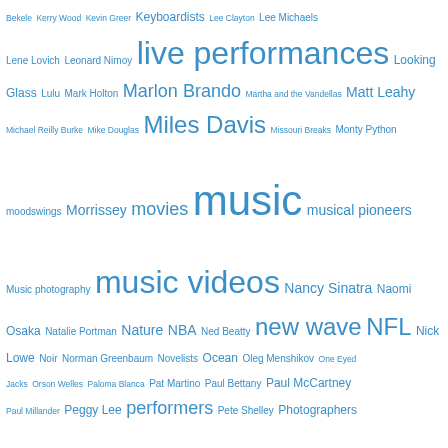[Figure (other): Tag cloud with various categories and names in blue, varying font sizes indicating popularity/frequency. Tags include: Bekele, Kerry Wood, Kevin Greer, Keyboardists, Lee Clayton, Lee Michaels, Lene Lovich, Leonard Nimoy, live performances, Looking Glass, Lulu, Mark Holton, Marlon Brando, Martha and the Vandellas, Matt Leahy, Michael Reilly Burke, Mike Douglas, Miles Davis, Missouri Breaks, Monty Python, moodswings, Morrissey, movies, music, musical pioneers, Music photography, music videos, Nancy Sinatra, Naomi Osaka, Natalie Portman, Nature, NBA, Ned Beatty, new wave, NFL, Nick Lowe, Noir, Norman Greenbaum, Novelists, Ocean, Oleg Menshikov, One Eyed Jacks, Orson Welles, Paloma Blanca, Pat Martino, Paul Bettany, Paul McCartney, Paul Millander, Peggy Lee, performers, Pete Shelley, Photographers, photography, pianists, Pilot, pioneers, Poetry, poets, Police Procedurals, pop, Post Punk, power pop, Predators, Prime Suspect, promo videos, psychedelic, Psycho, Psychopaths, Pulling Mussels, Punk, Punk rock, pure pop wonderment, quarterbacks, Ravenous Ray]